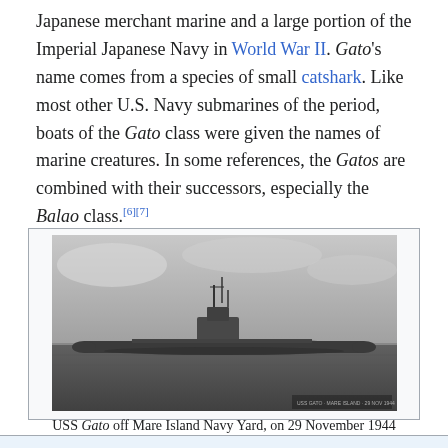Japanese merchant marine and a large portion of the Imperial Japanese Navy in World War II. Gato's name comes from a species of small catshark. Like most other U.S. Navy submarines of the period, boats of the Gato class were given the names of marine creatures. In some references, the Gatos are combined with their successors, especially the Balao class.[6][7]
[Figure (photo): Black and white photograph of USS Gato submarine at sea, off Mare Island Navy Yard, on 29 November 1944. The submarine is shown surfaced on calm water with a cloudy sky background.]
USS Gato off Mare Island Navy Yard, on 29 November 1944